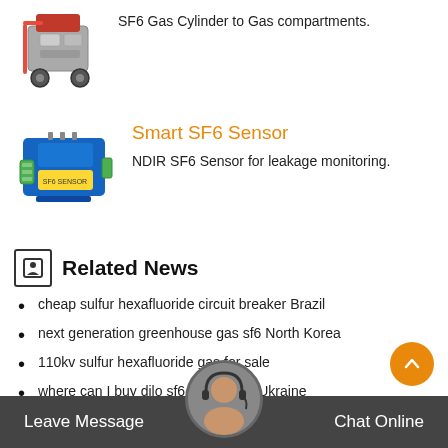SF6 Gas Cylinder to Gas compartments.
[Figure (photo): SF6 gas service cart / filling device on wheels]
Smart SF6 Sensor
NDIR SF6 Sensor for leakage monitoring.
[Figure (photo): Blue and yellow NDIR SF6 sensor module]
Related News
cheap sulfur hexafluoride circuit breaker Brazil
next generation greenhouse gas sf6 North Korea
110kv sulfur hexafluoride gas for sale
where can I buy dilo sf6 equipment Ukraine
Quantitative dilo sf6 hoses South Africa
detecting abb sf6 switchgear United Kingdom
Leave Message   Chat Online